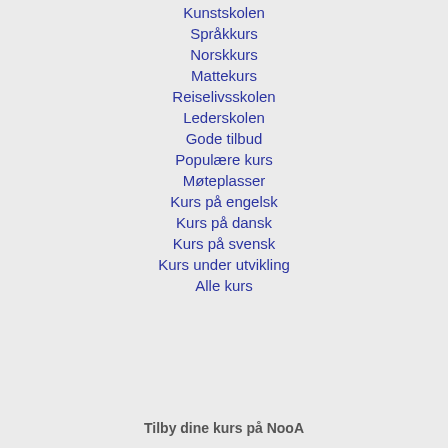Kunstskolen
Språkkurs
Norskkurs
Mattekurs
Reiselivsskolen
Lederskolen
Gode tilbud
Populære kurs
Møteplasser
Kurs på engelsk
Kurs på dansk
Kurs på svensk
Kurs under utvikling
Alle kurs
Tilby dine kurs på NooA